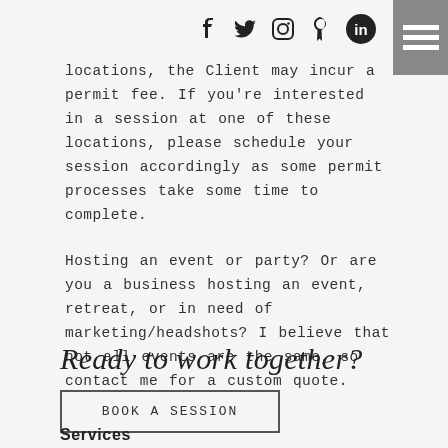Social icons: Facebook, Twitter, Instagram, Pinterest, LinkedIn; Menu icon
locations, the Client may incur a permit fee. If you're interested in a session at one of these locations, please schedule your session accordingly as some permit processes take some time to complete.
Hosting an event or party? Or are you a business hosting an event, retreat, or in need of marketing/headshots? I believe that not all events are the same, so contact me for a custom quote.
Ready to work together?
BOOK A SESSION
Services